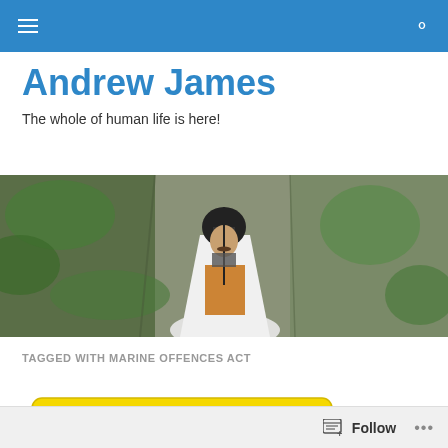Navigation bar with hamburger menu and search icon
Andrew James
The whole of human life is here!
[Figure (photo): A person wearing a black helmet and white cape with an orange/gold tunic, standing in front of rocky cliff face covered with moss/ivy]
TAGGED WITH MARINE OFFENCES ACT
[Figure (illustration): A yellow vintage bus/minibus with red decorative elements at the bottom, seen from the side]
Follow  •••